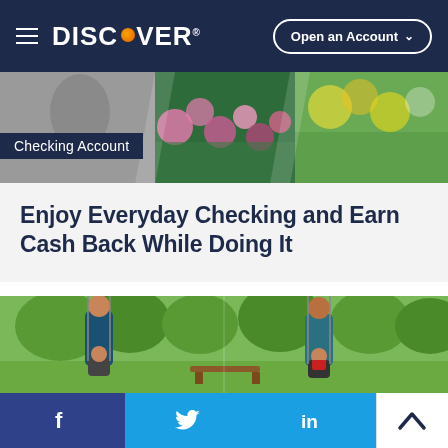DISCOVER — Open an Account
[Figure (photo): Colorful banner with flowers and garden imagery]
Checking Account
Enjoy Everyday Checking and Earn Cash Back While Doing It
[Figure (photo): Father pushing baby in a swing at a park, two-panel composition]
[Figure (infographic): Social media footer bar with Facebook, Twitter, LinkedIn icons and a scroll-to-top button]